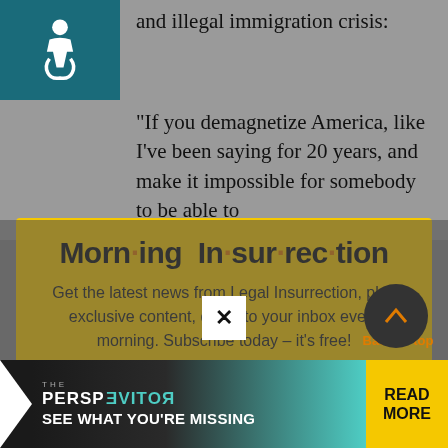and illegal immigration crisis:
“If you demagnetize America, like I’ve been saying for 20 years, and make it impossible for somebody to be able to
[Figure (infographic): Morning Insurrection newsletter signup modal with yellow background, orange dot accents in title, and JOIN NOW button]
[Figure (infographic): Bottom banner ad: THE PERSPECTIVE - SEE WHAT YOU'RE MISSING - READ MORE]
Back to top
X close button